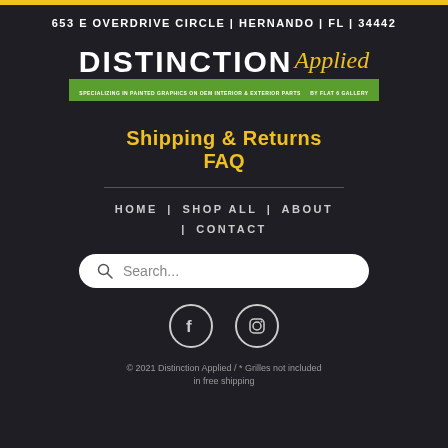653 E OVERDRIVE CIRCLE | HERNANDO | FL | 34442
[Figure (logo): Distinction Applied logo with green tagline bar reading 'SPECIALIZING IN PAINTED GRAPHICS ON OEM INTERIOR & EXTERIOR PARTS BY FLAT 6 GALLERY']
Shipping & Returns FAQ
HOME | SHOP ALL | ABOUT | CONTACT
[Figure (screenshot): Search bar with placeholder text 'Search...']
[Figure (infographic): Facebook and Instagram social media icons]
© 2021 Distinction Applied / * Grilles not included in free shipping